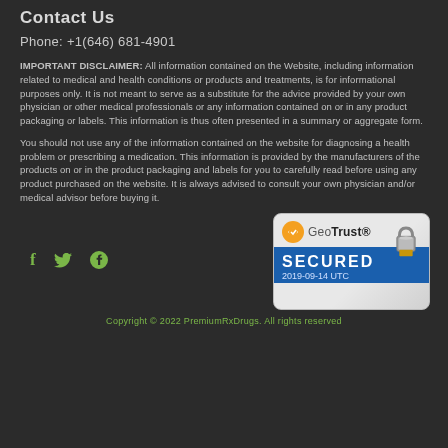Contact Us
Phone: +1(646) 681-4901
IMPORTANT DISCLAIMER: All information contained on the Website, including information related to medical and health conditions or products and treatments, is for informational purposes only. It is not meant to serve as a substitute for the advice provided by your own physician or other medical professionals or any information contained on or in any product packaging or labels. This information is thus often presented in a summary or aggregate form.
You should not use any of the information contained on the website for diagnosing a health problem or prescribing a medication. This information is provided by the manufacturers of the products on or in the product packaging and labels for you to carefully read before using any product purchased on the website. It is always advised to consult your own physician and/or medical advisor before buying it.
[Figure (logo): GeoTrust SECURED 2019-09-14 UTC badge with padlock icon]
Copyright © 2022 PremiumRxDrugs. All rights reserved